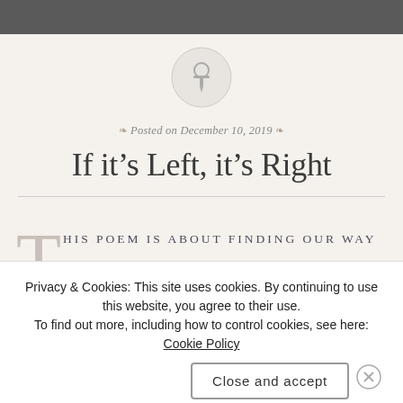[Figure (illustration): A circular pin/thumbtack icon with a light gray background circle]
Posted on December 10, 2019
If it’s Left, it’s Right
THIS POEM IS ABOUT FINDING OUR WAY
Privacy & Cookies: This site uses cookies. By continuing to use this website, you agree to their use.
To find out more, including how to control cookies, see here: Cookie Policy
Close and accept